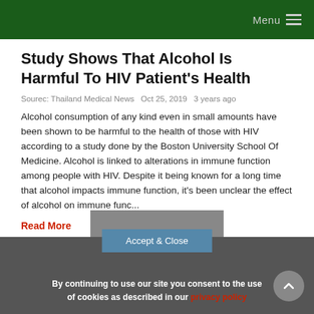Menu
Study Shows That Alcohol Is Harmful To HIV Patient's Health
Sourec: Thailand Medical News  Oct 25, 2019  3 years ago
Alcohol consumption of any kind even in small amounts have been shown to be harmful to the health of those with HIV according to a study done by the Boston University School Of Medicine. Alcohol is linked to alterations in immune function among people with HIV. Despite it being known for a long time that alcohol impacts immune function, it's been unclear the effect of alcohol on immune func...
Read More
By continuing to use our site you consent to the use of cookies as described in our privacy policy